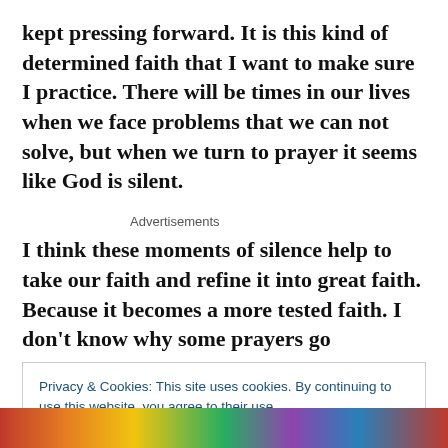kept pressing forward. It is this kind of determined faith that I want to make sure I practice. There will be times in our lives when we face problems that we can not solve, but when we turn to prayer it seems like God is silent.
Advertisements
I think these moments of silence help to take our faith and refine it into great faith. Because it becomes a more tested faith. I don't know why some prayers go
Privacy & Cookies: This site uses cookies. By continuing to use this website, you agree to their use.
To find out more, including how to control cookies, see here: Cookie Policy
Close and accept
[Figure (photo): Colorful decorative image strip at the bottom of the page]